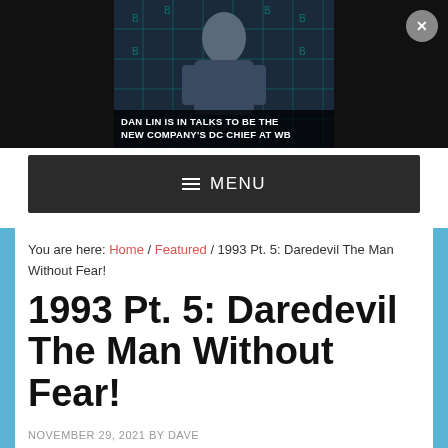[Figure (screenshot): Video ad thumbnail showing a man in a suit at a BAFTA backdrop with text overlay: DAN LIN IS IN TALKS TO BE THE NEW COMPANY'S DC CHIEF AT WB. A close/X button appears in the upper right corner.]
≡ MENU
You are here: Home / Featured / 1993 Pt. 5: Daredevil The Man Without Fear!
1993 Pt. 5: Daredevil The Man Without Fear!
NOVEMBER 29, 2021 BY DAVE
LEAVE A COMMENT